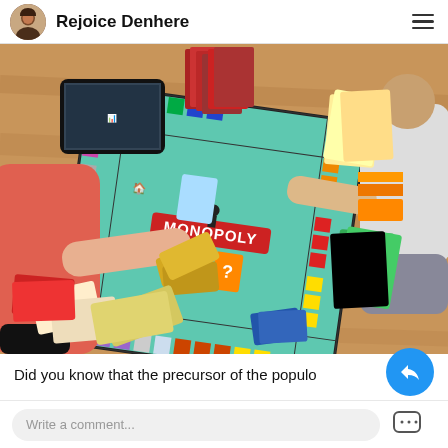Rejoice Denhere
[Figure (photo): Overhead view of people playing Monopoly board game on a wooden floor, with Monopoly money and cards visible]
Did you know that the precursor of the populo
Write a comment...